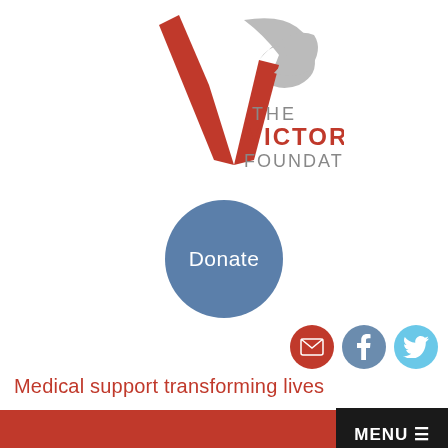[Figure (logo): The Victoria Foundation logo: red V-shape with grey swoosh, text 'THE VICTORIA FOUNDATION' in red and grey]
[Figure (other): Round blue 'Donate' button]
[Figure (other): Social media icons: red email envelope, grey Facebook, light blue Twitter]
Medical support transforming lives
[Figure (other): Red navigation bar with black MENU button with hamburger icon]
You are here:  /  News
/ Phoenix Music Festival Richmond raises over £2,500 for The Victoria Foundation!